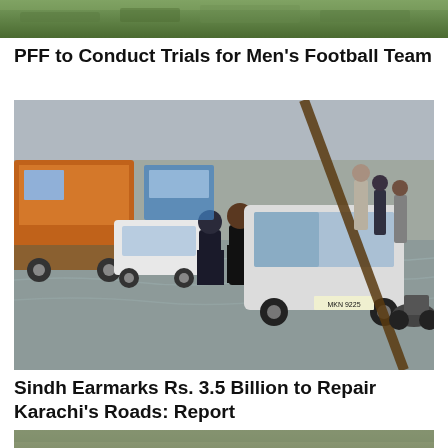[Figure (photo): Top partial image of a green outdoor scene]
PFF to Conduct Trials for Men's Football Team
[Figure (photo): Flooded street in Pakistan with a police officer and a man pushing a white car through floodwater; trucks, motorcycles and other people visible in the background]
Sindh Earmarks Rs. 3.5 Billion to Repair Karachi's Roads: Report
[Figure (photo): Aerial view of flooded landscape with water and vegetation]